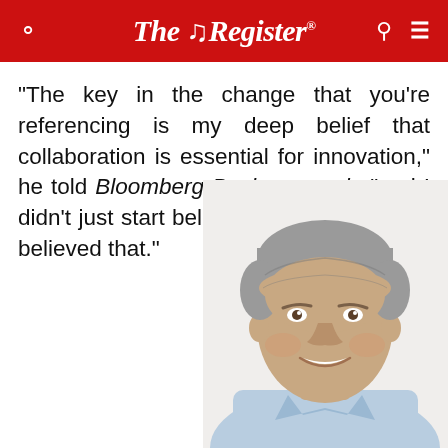The Register
"The key in the change that you're referencing is my deep belief that collaboration is essential for innovation," he told Bloomberg Businessweek, "and I didn't just start believing that. I've always believed that."
[Figure (photo): Portrait photo of a middle-aged man with grey hair, smiling, wearing a light blue shirt, against a white background.]